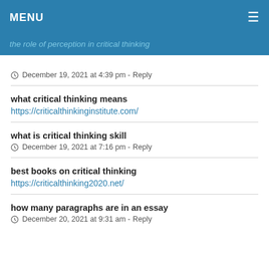MENU
the role of perception in critical thinking
December 19, 2021 at 4:39 pm - Reply
what critical thinking means
https://criticalthinkinginstitute.com/
what is critical thinking skill
December 19, 2021 at 7:16 pm - Reply
best books on critical thinking
https://criticalthinking2020.net/
how many paragraphs are in an essay
December 20, 2021 at 9:31 am - Reply